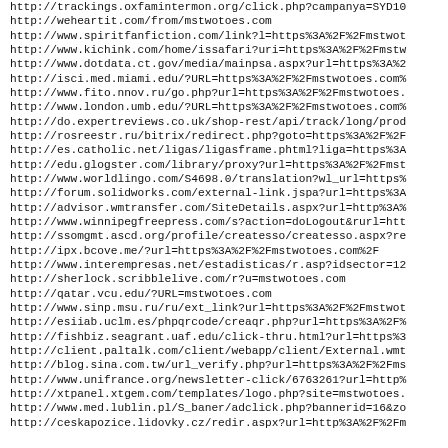http://trackings.oxfamintermon.org/click.php?campanya=SYD1o
http://weheartit.com/from/mstwotoes.com
http://www.spiritfanfiction.com/link?l=https%3A%2F%2Fmstwot
http://www.kichink.com/home/issafari?uri=https%3A%2F%2Fmstw
http://www.dotdata.ct.gov/media/mainpsa.aspx?url=https%3A%2
http://isci.med.miami.edu/?URL=https%3A%2F%2Fmstwotoes.com%
http://www.fito.nnov.ru/go.php?url=https%3A%2F%2Fmstwotoes.
http://www.london.umb.edu/?URL=https%3A%2F%2Fmstwotoes.com%
http://do.expertreviews.co.uk/shop-rest/api/track/long/prod
http://rosreestr.ru/bitrix/redirect.php?goto=https%3A%2F%2F
http://es.catholic.net/ligas/ligasframe.phtml?liga=https%3A
http://edu.glogster.com/library/proxy?url=https%3A%2F%2Fmst
http://www.worldlingo.com/S4698.0/translation?wl_url=https%
http://forum.solidworks.com/external-link.jspa?url=https%3A
http://advisor.wmtransfer.com/SiteDetails.aspx?url=http%3A%
http://www.winnipegfreepress.com/s?action=doLogout&rurl=htt
http://ssomgmt.ascd.org/profile/createsso/createsso.aspx?re
http://ipx.bcove.me/?url=https%3A%2F%2Fmstwotoes.com%2F
http://www.interempresas.net/estadisticas/r.asp?idsector=12
http://sherlock.scribblelive.com/r?u=mstwotoes.com
http://qatar.vcu.edu/?URL=mstwotoes.com
http://www.sinp.msu.ru/ru/ext_link?url=https%3A%2F%2Fmstwot
http://esiiab.uclm.es/phpqrcode/creaqr.php?url=https%3A%2F%
http://fishbiz.seagrant.uaf.edu/click-thru.html?url=https%3
http://client.paltalk.com/client/webapp/client/External.wmt
http://blog.sina.com.tw/url_verify.php?url=https%3A%2F%2Fms
http://www.unifrance.org/newsletter-click/6763261?url=http%
http://xtpanel.xtgem.com/templates/logo.php?site=mstwotoes.
http://www.med.lublin.pl/S_baner/adclick.php?bannerid=16&zo
http://ceskapozice.lidovky.cz/redir.aspx?url=http%3A%2F%2Fm